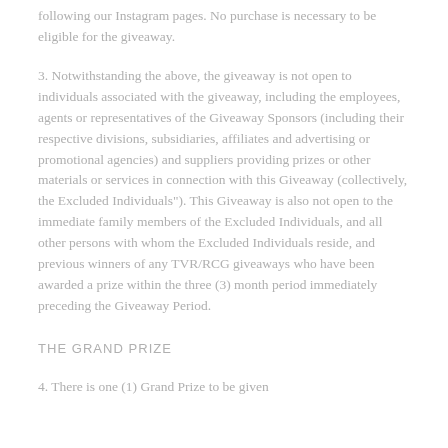following our Instagram pages. No purchase is necessary to be eligible for the giveaway.
3. Notwithstanding the above, the giveaway is not open to individuals associated with the giveaway, including the employees, agents or representatives of the Giveaway Sponsors (including their respective divisions, subsidiaries, affiliates and advertising or promotional agencies) and suppliers providing prizes or other materials or services in connection with this Giveaway (collectively, the Excluded Individuals"). This Giveaway is also not open to the immediate family members of the Excluded Individuals, and all other persons with whom the Excluded Individuals reside, and previous winners of any TVR/RCG giveaways who have been awarded a prize within the three (3) month period immediately preceding the Giveaway Period.
THE GRAND PRIZE
4. There is one (1) Grand Prize to be given